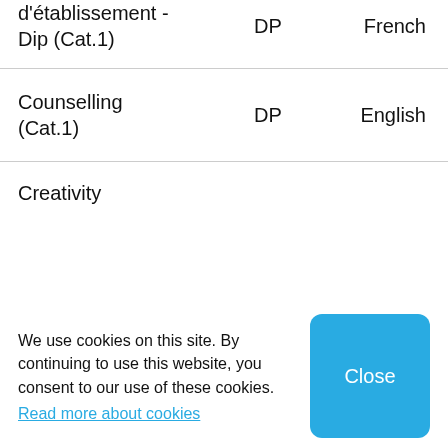| d'établissement - Dip (Cat.1) | DP | French |
| Counselling (Cat.1) | DP | English |
| Creativity |  |  |
We use cookies on this site. By continuing to use this website, you consent to our use of these cookies. Read more about cookies